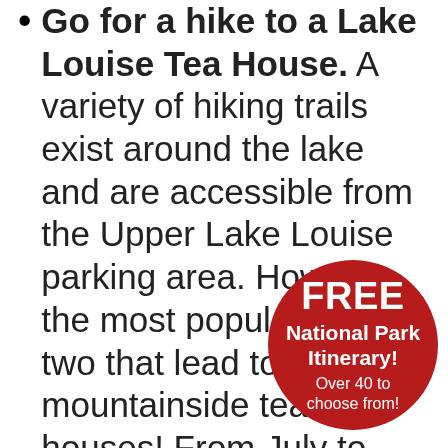Go for a hike to a Lake Louise Tea House. A variety of hiking trails exist around the lake and are accessible from the Upper Lake Louise parking area. However, the most popular are the two that lead to mountainside tea houses! From July to September, hiking is at its prime in the Lake Louise area. Some trails may be closed November through [spring] due to dangerous avalan[che conditions]. Be sure to check the trail [status before] departing for any of these hi[kes]. The [Agnes Lake Trail is one such]...
[Figure (infographic): Red circular badge overlay reading: FREE National Park Itinerary! Over 40 to choose from!]